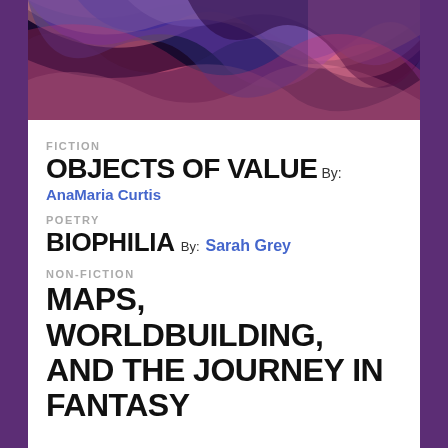[Figure (illustration): Abstract fluid art painting with swirling pink, purple, blue, and black colors across the top of the page]
FICTION
OBJECTS OF VALUE  By:
AnaMaria Curtis
POETRY
BIOPHILIA  By: Sarah Grey
NON-FICTION
MAPS, WORLDBUILDING, AND THE JOURNEY IN FANTASY